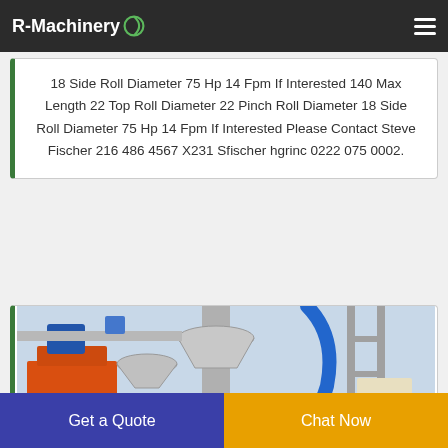R-Machinery
18 Side Roll Diameter 75 Hp 14 Fpm If Interested 140 Max Length 22 Top Roll Diameter 22 Pinch Roll Diameter 18 Side Roll Diameter 75 Hp 14 Fpm If Interested Please Contact Steve Fischer 216 486 4567 X231 Sfischer hgrinc 0222 075 0002.
[Figure (photo): Industrial machinery photo showing an orange and gray machine with pipes, blue hose, and grey funnel/cone components in a factory setting.]
Get a Quote
Chat Now